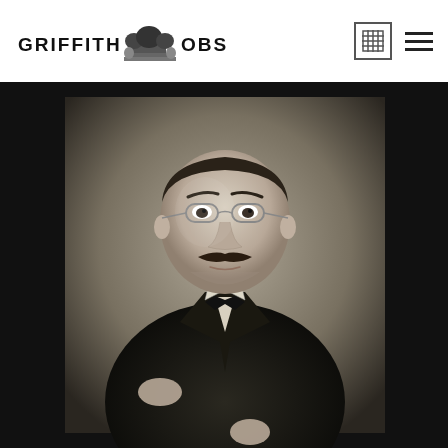GRIFFITH OBSERVATORY
[Figure (photo): Black and white portrait photograph of a heavyset man with a mustache, wearing glasses, a dark suit jacket, and a bow tie. He is seated, with one hand resting, and looks slightly upward. The photo has a formal studio portrait style from the early 20th century.]